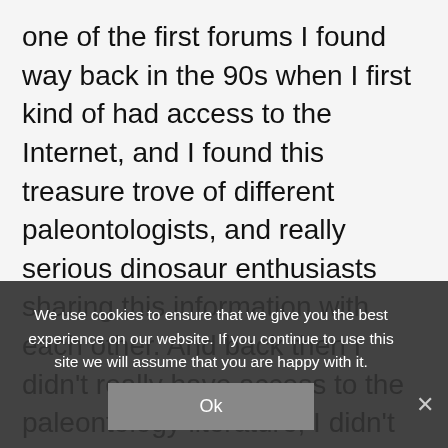one of the first forums I found way back in the 90s when I first kind of had access to the Internet, and I found this treasure trove of different paleontologists, and really serious dinosaur enthusiasts sharing this information with each other. And back then I didn't really have access to the paleontology literature, I didn't even necessarily know that a lot of it really existed. So I was kind of relying on mailing lists and things like that as a resource, and even to this day you know that's kind of a great place where I can find out about new discoveries and things like that. [partially obscured] Twitter and Facebook, a lot of paleontologists, especially younger generational paleontologists are posting things th[at] kind of sharing research and bouncing ideas off of each other,
We use cookies to ensure that we give you the best experience on our website. If you continue to use this site we will assume that you are happy with it.